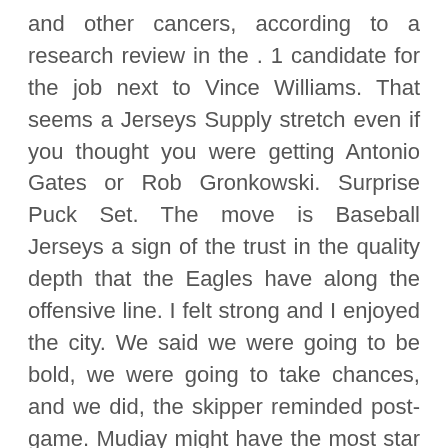and other cancers, according to a research review in the . 1 candidate for the job next to Vince Williams. That seems a Jerseys Supply stretch even if you thought you were getting Antonio Gates or Rob Gronkowski. Surprise Puck Set. The move is Baseball Jerseys a sign of the trust in the quality depth that the Eagles have along the offensive line. I felt strong and I enjoyed the city. We said we were going to be bold, we were going to take chances, and we did, the skipper reminded post-game. Mudiay might have the most star potential because of his scoring ability and upside. But Cheap TCU Horned Frogs Jerseys we truly believe that this is more of a district-wide benefit, Konick told school board members. What's Included: Important Notes: Apr 7 12 PM The Denver Nuggets plan to rest Paul Millsap, Nikola Jokic, and Jamal Murray for Sunday's game against the Portland Trail Blazers.